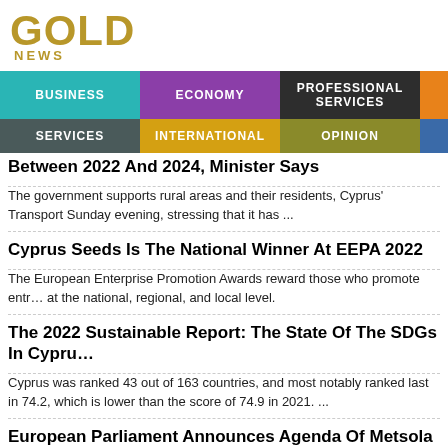GOLD NEWS
BUSINESS | ECONOMY | PROFESSIONAL SERVICES | SERVICES | INTERNATIONAL | OPINION
Between 2022 And 2024, Minister Says
The government supports rural areas and their residents, Cyprus' Transport Sunday evening, stressing that it has ...
Cyprus Seeds Is The National Winner At EEPA 2022
The European Enterprise Promotion Awards reward those who promote entrepreneurship at the national, regional, and local level.
The 2022 Sustainable Report: The State Of The SDGs In Cyprus
Cyprus was ranked 43 out of 163 countries, and most notably ranked last in 74.2, which is lower than the score of 74.9 in 2021. ...
European Parliament Announces Agenda Of Metsola Visit To Cyprus
The agenda of European Parliament President Roberta Metsola's visit to Cyprus...